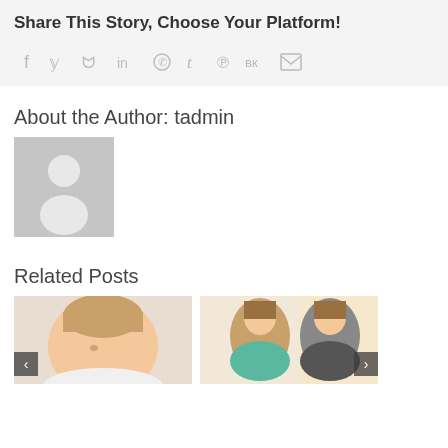Share This Story, Choose Your Platform!
[Figure (infographic): Row of social media sharing icons: facebook, twitter, reddit, linkedin, whatsapp, tumblr, pinterest, vk, email]
About the Author: tadmin
[Figure (photo): Generic grey avatar placeholder image showing silhouette of a person]
Related Posts
[Figure (photo): Photo of a young woman with short blonde hair looking downward, cropped]
[Figure (photo): Photo of two women smiling together, one in teal top]